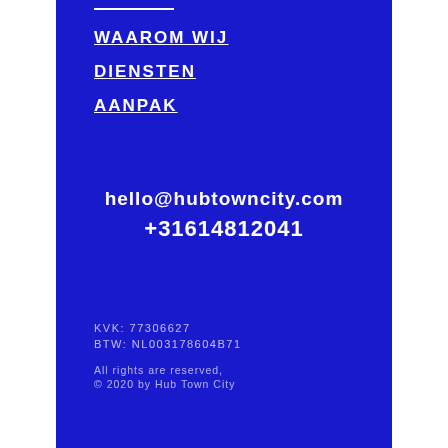WAAROM WIJ
DIENSTEN
AANPAK
hello@hubtowncity.com
+31614812041
KVK: 77306627
BTW: NL003178604B71
All rights are reserved,
© 2020 by Hub Town City